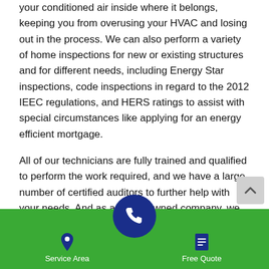your conditioned air inside where it belongs, keeping you from overusing your HVAC and losing out in the process. We can also perform a variety of home inspections for new or existing structures and for different needs, including Energy Star inspections, code inspections in regard to the 2012 IEEC regulations, and HERS ratings to assist with special circumstances like applying for an energy efficient mortgage.
All of our technicians are fully trained and qualified to perform the work required, and we have a large number of certified auditors to further help with your needs. And as a family owned company, we truly care about our customers and the relationships we build together. We will do whatever it takes to decrease your energy expenditures and improve your standard of living!
Service Area   [phone]   Free Quote